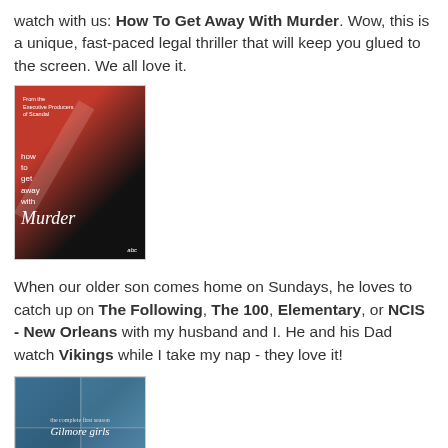watch with us: How To Get Away With Murder. Wow, this is a unique, fast-paced legal thriller that will keep you glued to the screen. We all love it.
[Figure (photo): Promotional poster for 'How To Get Away With Murder' TV show — red background with a woman in a black dress, show title in stylized text]
When our older son comes home on Sundays, he loves to catch up on The Following, The 100, Elementary, or NCIS - New Orleans with my husband and I. He and his Dad watch Vikings while I take my nap - they love it!
[Figure (photo): DVD cover for Gilmore Girls complete/special season — teal/blue background with show title in cursive font]